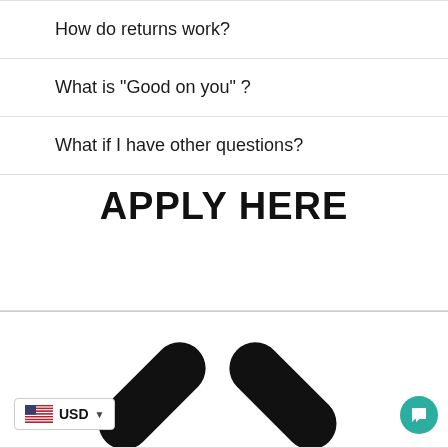How do returns work?
What is "Good on you" ?
What if I have other questions?
APPLY HERE
[Figure (screenshot): Bottom section showing a currency selector widget with US flag and USD label with dropdown arrow, two large black checkmark/tick marks partially visible at the bottom, and a teal circular chat button on the right]